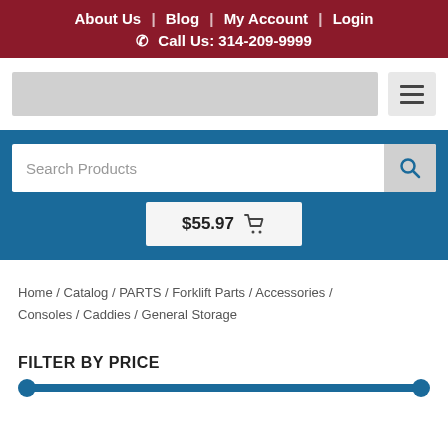About Us | Blog | My Account | Login
📞 Call Us: 314-209-9999
[Figure (screenshot): Logo placeholder (grey rectangle) and hamburger menu button]
Search Products
$55.97 🛒
Home / Catalog / PARTS / Forklift Parts / Accessories / Consoles / Caddies / General Storage
FILTER BY PRICE